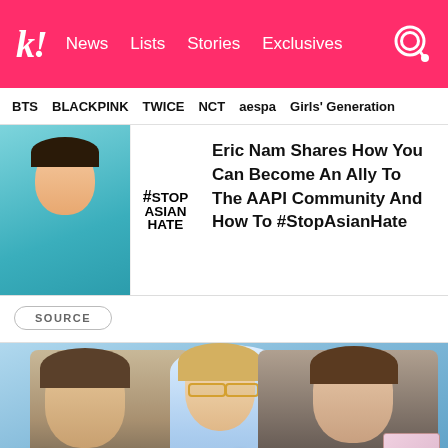koreaboo — News | Lists | Stories | Exclusives
BTS  BLACKPINK  TWICE  NCT  aespa  Girls' Generation
[Figure (photo): Eric Nam photo next to #StopAsianHate graphic]
Eric Nam Shares How You Can Become An Ally To The AAPI Community And How To #StopAsianHate
SOURCE
[Figure (photo): Three people posing — Tom Hiddleston, a blonde woman with glasses, and Ryan Reynolds]
What's Happening Around The World